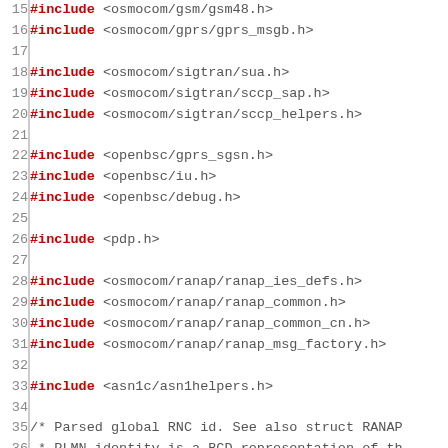Source code listing lines 15-41, C header includes and struct definition
15  #include <osmocom/gsm/gsm48.h>
16  #include <osmocom/gprs/gprs_msgb.h>
17  (blank)
18  #include <osmocom/sigtran/sua.h>
19  #include <osmocom/sigtran/sccp_sap.h>
20  #include <osmocom/sigtran/sccp_helpers.h>
21  (blank)
22  #include <openbsc/gprs_sgsn.h>
23  #include <openbsc/iu.h>
24  #include <openbsc/debug.h>
25  (blank)
26  #include <pdp.h>
27  (blank)
28  #include <osmocom/ranap/ranap_ies_defs.h>
29  #include <osmocom/ranap/ranap_common.h>
30  #include <osmocom/ranap/ranap_common_cn.h>
31  #include <osmocom/ranap/ranap_msg_factory.h>
32  (blank)
33  #include <asn1c/asn1helpers.h>
34  (blank)
35  /* Parsed global RNC id. See also struct RANAP...
36   * PLMN identity is a BCD representation of th...
37   * See iu_grnc_id_parse(). */
38  struct iu_grnc_id {
39          uint16_t mcc;
40          uint16_t mnc;
41          uint16_t rnc_id;